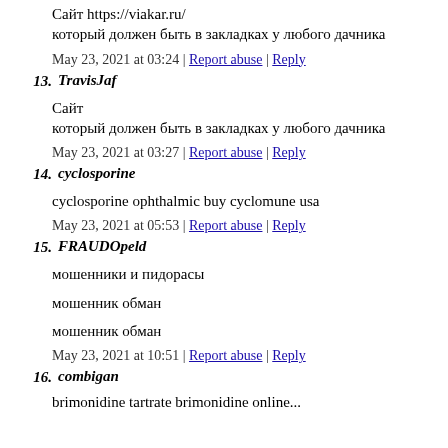Сайт https://viakar.ru/
который должен быть в закладках у любого дачника
May 23, 2021 at 03:24 | Report abuse | Reply
13. TravisJaf
Сайт
который должен быть в закладках у любого дачника
May 23, 2021 at 03:27 | Report abuse | Reply
14. cyclosporine
cyclosporine ophthalmic buy cyclomune usa
May 23, 2021 at 05:53 | Report abuse | Reply
15. FRAUDOpeld
мошенники и пидорасы
мошенник обман
мошенник обман
May 23, 2021 at 10:51 | Report abuse | Reply
16. combigan
brimonidine tartrate brimonidine online...